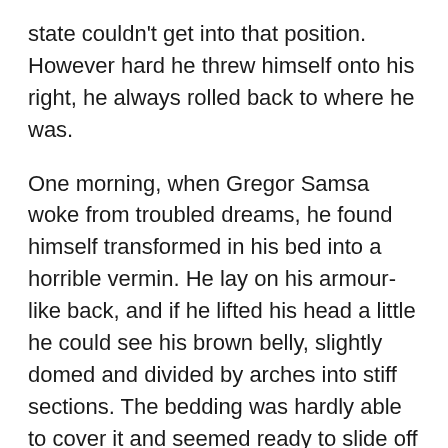state couldn't get into that position. However hard he threw himself onto his right, he always rolled back to where he was.
One morning, when Gregor Samsa woke from troubled dreams, he found himself transformed in his bed into a horrible vermin. He lay on his armour-like back, and if he lifted his head a little he could see his brown belly, slightly domed and divided by arches into stiff sections. The bedding was hardly able to cover it and seemed ready to slide off any moment. His many legs, pitifully thin compared with the size of the rest of him, waved about helplessly as he looked. “What’s happened to me?” he thought. It wasn’t a dream.